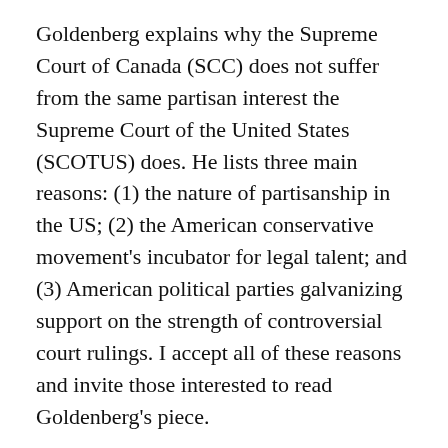Goldenberg explains why the Supreme Court of Canada (SCC) does not suffer from the same partisan interest the Supreme Court of the United States (SCOTUS) does. He lists three main reasons: (1) the nature of partisanship in the US; (2) the American conservative movement's incubator for legal talent; and (3) American political parties galvanizing support on the strength of controversial court rulings. I accept all of these reasons and invite those interested to read Goldenberg's piece.
But one more should be added, without which the story is incomplete: American citizens know where law is made.  They